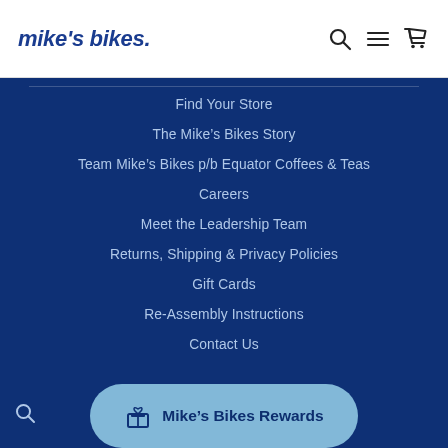mike's bikes.
Find Your Store
The Mike's Bikes Story
Team Mike's Bikes p/b Equator Coffees & Teas
Careers
Meet the Leadership Team
Returns, Shipping & Privacy Policies
Gift Cards
Re-Assembly Instructions
Contact Us
Mike's Bikes Rewards